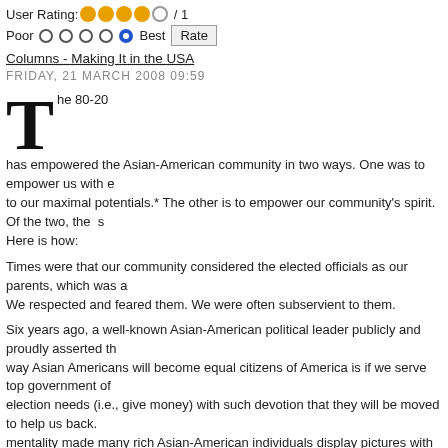User Rating: ●●●●○ / 1
Poor ○ ○ ○ ○ ● Best  Rate
Columns - Making It in the USA
FRIDAY, 21 MARCH 2008 09:59
The 80-20 has empowered the Asian-American community in two ways. One was to empower us with e to our maximal potentials.* The other is to empower our community's spirit. Of the two, the s Here is how:
Times were that our community considered the elected officials as our parents, which was a We respected and feared them. We were often subservient to them.
Six years ago, a well-known Asian-American political leader publicly and proudly asserted th way Asian Americans will become equal citizens of America is if we serve top government of election needs (i.e., give money) with such devotion that they will be moved to help us back. mentality made many rich Asian-American individuals display pictures with top officials at ho with huge amount of money with NO return benefits for our community.
The 80-20 advocates the diametric opposite.
The 80-20's position: In a democracy, officials are public servants regardless of their ranks. V bosses. If the officials share our rightful concerns, we reward them. Otherwise, we punish th sheep. Other enlightened Asian-American organizations have advocated similar principles...